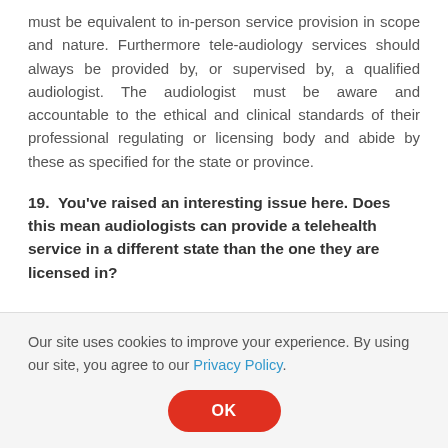must be equivalent to in-person service provision in scope and nature. Furthermore tele-audiology services should always be provided by, or supervised by, a qualified audiologist. The audiologist must be aware and accountable to the ethical and clinical standards of their professional regulating or licensing body and abide by these as specified for the state or province.
19.  You've raised an interesting issue here. Does this mean audiologists can provide a telehealth service in a different state than the one they are licensed in?
Our site uses cookies to improve your experience. By using our site, you agree to our Privacy Policy.